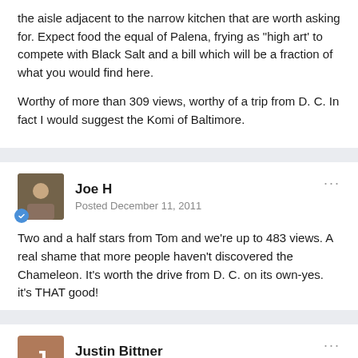the aisle adjacent to the narrow kitchen that are worth asking for. Expect food the equal of Palena, frying as "high art' to compete with Black Salt and a bill which will be a fraction of what you would find here.
Worthy of more than 309 views, worthy of a trip from D. C. In fact I would suggest the Komi of Baltimore.
Joe H
Posted December 11, 2011
Two and a half stars from Tom and we're up to 483 views. A real shame that more people haven't discovered the Chameleon. It's worth the drive from D. C. on its own-yes. it's THAT good!
Justin Bittner
Posted January 5, 2013